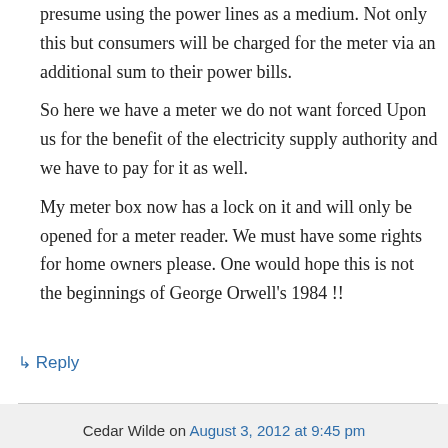presume using the power lines as a medium. Not only this but consumers will be charged for the meter via an additional sum to their power bills.

So here we have a meter we do not want forced Upon us for the benefit of the electricity supply authority and we have to pay for it as well.

My meter box now has a lock on it and will only be opened for a meter reader. We must have some rights for home owners please. One would hope this is not the beginnings of George Orwell's 1984 !!
↳ Reply
Cedar Wilde on August 3, 2012 at 9:45 pm